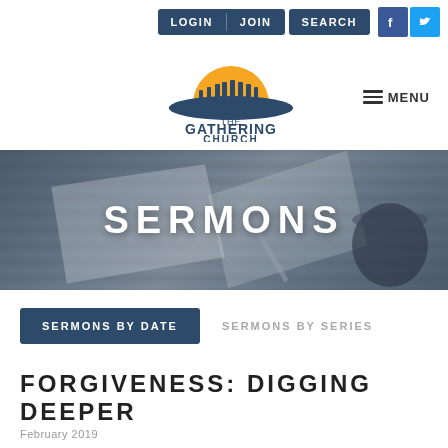LOGIN  JOIN  SEARCH  [Facebook] [Twitter]
[Figure (logo): The Gathering Church logo: silhouette of people on hill with orange/yellow sun behind, dark blue text reads THE GATHERING CHURCH]
≡ MENU
[Figure (photo): Banner image showing an open Bible/notebook on a wooden table with a pencil and a dark coffee mug, overlaid with dark blue tint, with large white text SERMONS centered]
SERMONS BY DATE  SERMONS BY SERIES
FORGIVENESS: DIGGING DEEPER